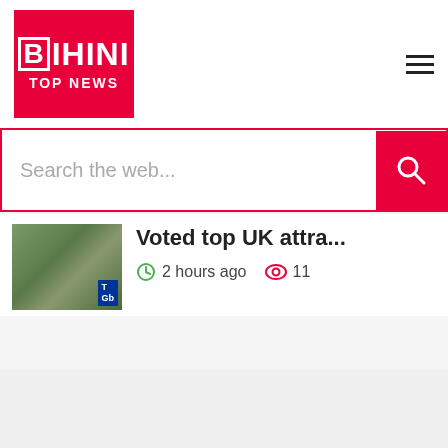BHIN TOP NEWS
Search the web...
Voted top UK attra...
2 hours ago  11